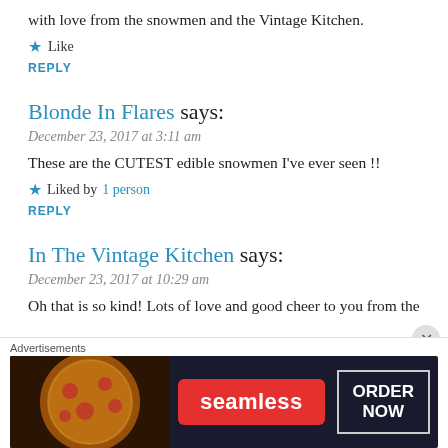with love from the snowmen and the Vintage Kitchen.
★ Like
REPLY
Blonde In Flares says:
December 23, 2017 at 3:11 am
These are the CUTEST edible snowmen I've ever seen !!
★ Liked by 1 person
REPLY
In The Vintage Kitchen says:
December 23, 2017 at 10:29 am
Oh that is so kind! Lots of love and good cheer to you from the
Advertisements
[Figure (infographic): Seamless food delivery advertisement with pizza image, Seamless logo in red, and ORDER NOW button]